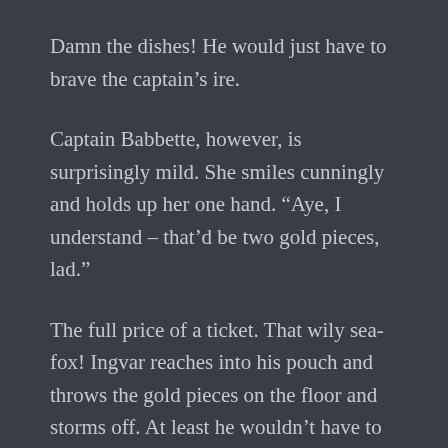Damn the dishes! He would just have to brave the captain's ire.
Captain Babbette, however, is surprisingly mild. She smiles cunningly and holds up her one hand. “Aye, I understand – that’d be two gold pieces, lad.”
The full price of a ticket. That wily sea-fox! Ingvar reaches into his pouch and throws the gold pieces on the floor and storms off. At least he wouldn’t have to work for the rest of his journey.
The same couldn’t be said of Little Ice, Making his way to the top of the crow’s nest, he sees the barrelman he is supposed to relieve: A snoozing aarakocra with colorful feathers and a short, hooked beak. The whole barrel